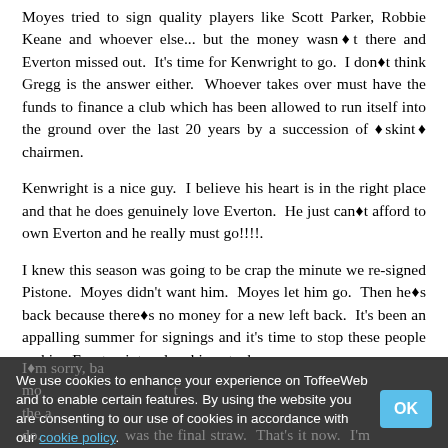Moyes tried to sign quality players like Scott Parker, Robbie Keane and whoever else... but the money wasn't there and Everton missed out.  It's time for Kenwright to go.  I don't think Gregg is the answer either.  Whoever takes over must have the funds to finance a club which has been allowed to run itself into the ground over the last 20 years by a succession of 'skint' chairmen.
Kenwright is a nice guy.  I believe his heart is in the right place and that he does genuinely love Everton.  He just can't afford to own Everton and he really must go!!!!.
I knew this season was going to be crap the minute we re-signed Pistone.  Moyes didn't want him.  Moyes let him go.  Then he's back because there's no money for a new left back.  It's been an appalling summer for signings and it's time to stop these people making Everton into a laughing stock.
I'm sorry, but Kenwright not giving you people Elstone money... as the final straw.  That's it now.  I'm really
We use cookies to enhance your experience on ToffeeWeb and to enable certain features. By using the website you are consenting to our use of cookies in accordance with our cookie policy.